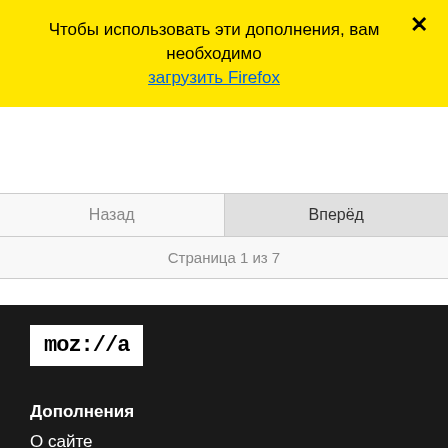Чтобы использовать эти дополнения, вам необходимо загрузить Firefox
×
Назад
Вперёд
Страница 1 из 7
[Figure (logo): Mozilla logo — white rectangle with 'moz://a' text in black monospace font]
Дополнения
О сайте
Блог дополнений для Firefox